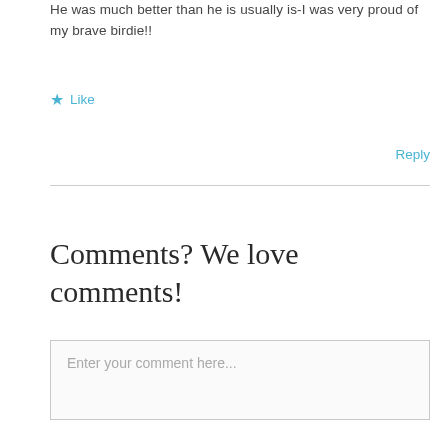He was much better than he is usually is-I was very proud of my brave birdie!!
★ Like
Reply
Comments? We love comments!
Enter your comment here...